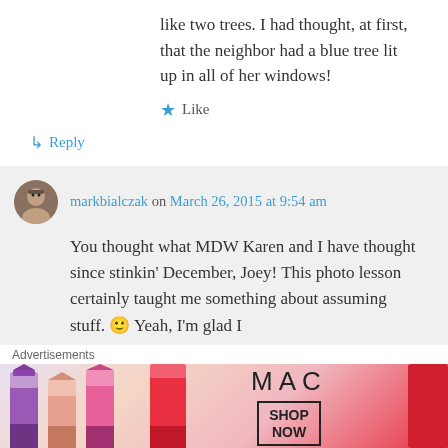like two trees. I had thought, at first, that the neighbor had a blue tree lit up in all of her windows!
★ Like
↳ Reply
markbialczak on March 26, 2015 at 9:54 am
You thought what MDW Karen and I have thought since stinkin' December, Joey! This photo lesson certainly taught me something about assuming stuff. 🙂 Yeah, I'm glad I
Advertisements
[Figure (photo): MAC cosmetics advertisement banner showing lipsticks in purple, pink, and red colors with MAC logo and SHOP NOW button]